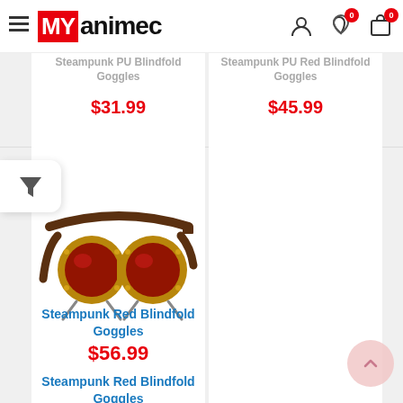MY animec — navigation bar with hamburger menu, logo, user/wishlist/cart icons
Steampunk PU Blindfold Goggles
$31.99
Steampunk PU Red Blindfold Goggles
$45.99
[Figure (photo): Steampunk red blindfold goggles with brown leather strap, brass frames, and red lenses]
Steampunk Red Blindfold Goggles
$56.99